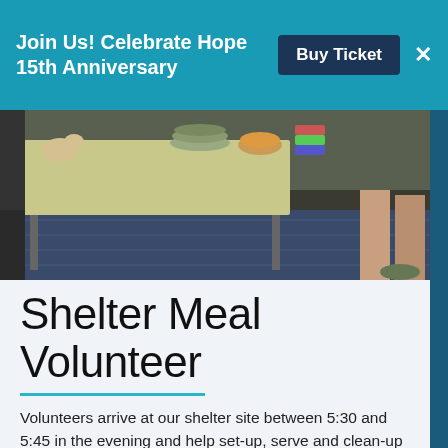Join Us! Celebrate Hope 15th Anniversary
[Figure (photo): Indoor event scene with a folding table holding stacked plates and bowls, with people visible in the background on a blue floor]
Shelter Meal Volunteer
Volunteers arrive at our shelter site between 5:30 and 5:45 in the evening and help set-up, serve and clean-up after dinner. Shifts typically last 90 minutes to two hours. This is an interactive role with